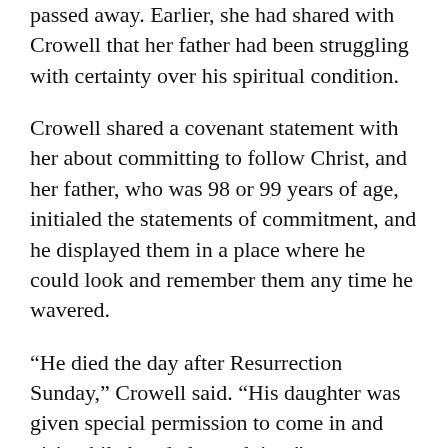passed away. Earlier, she had shared with Crowell that her father had been struggling with certainty over his spiritual condition.
Crowell shared a covenant statement with her about committing to follow Christ, and her father, who was 98 or 99 years of age, initialed the statements of commitment, and he displayed them in a place where he could look and remember them any time he wavered.
“He died the day after Resurrection Sunday,” Crowell said. “His daughter was given special permission to come in and visit while her dad was dying.”
As these examples illustrate, the COVID-19